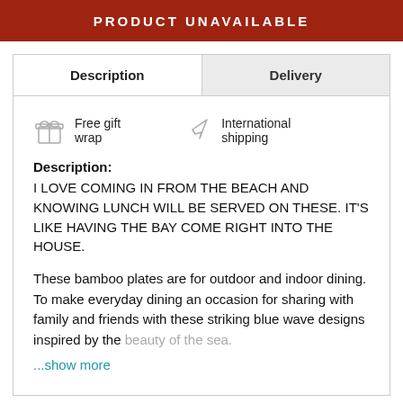PRODUCT UNAVAILABLE
Description	Delivery
Free gift wrap	International shipping
Description:
I LOVE COMING IN FROM THE BEACH AND KNOWING LUNCH WILL BE SERVED ON THESE. IT'S LIKE HAVING THE BAY COME RIGHT INTO THE HOUSE.

These bamboo plates are for outdoor and indoor dining. To make everyday dining an occasion for sharing with family and friends with these striking blue wave designs inspired by the beauty of the sea.
...show more